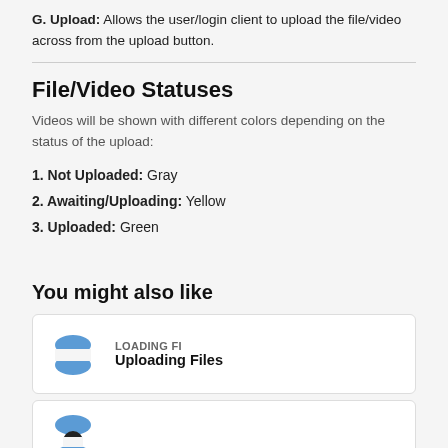G. Upload: Allows the user/login client to upload the file/video across from the upload button.
File/Video Statuses
Videos will be shown with different colors depending on the status of the upload:
1. Not Uploaded: Gray
2. Awaiting/Uploading: Yellow
3. Uploaded: Green
You might also like
[Figure (screenshot): Card with blue circular logo and text 'LOADING FI' and 'Uploading Files']
[Figure (screenshot): Card with blue circular logo partially visible at bottom]